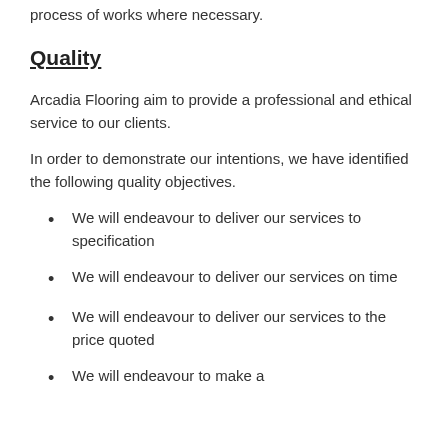process of works where necessary.
Quality
Arcadia Flooring aim to provide a professional and ethical service to our clients.
In order to demonstrate our intentions, we have identified the following quality objectives.
We will endeavour to deliver our services to specification
We will endeavour to deliver our services on time
We will endeavour to deliver our services to the price quoted
We will endeavour to make a